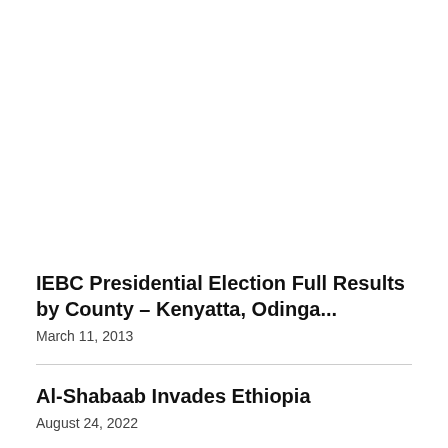IEBC Presidential Election Full Results by County – Kenyatta, Odinga...
March 11, 2013
Al-Shabaab Invades Ethiopia
August 24, 2022